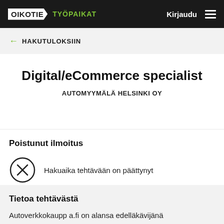OIKOTIE TYÖPAIKAT Kirjaudu
← HAKUTULOKSIIN
Digital/eCommerce specialist
AUTOMYYMÄLÄ HELSINKI OY
Poistunut ilmoitus
Hakuaika tehtävään on päättynyt
Tietoa tehtävästä
Autoverkkokaupp a.fi on alansa edelläkävijänä